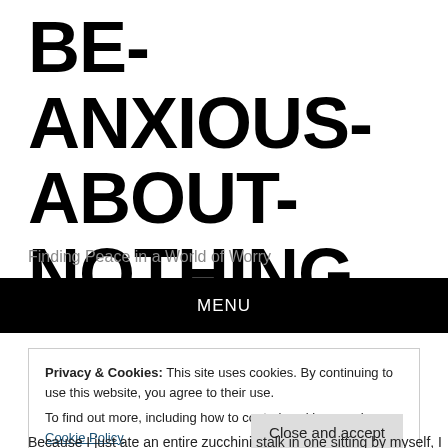BE-ANXIOUS-ABOUT-NOTHING
Finding Peace in a World of Worry
MENU
Privacy & Cookies: This site uses cookies. By continuing to use this website, you agree to their use.
To find out more, including how to control cookies, see here: Cookie Policy
Close and accept
Because I just ate an entire zucchini stalk in one sitting by myself, I